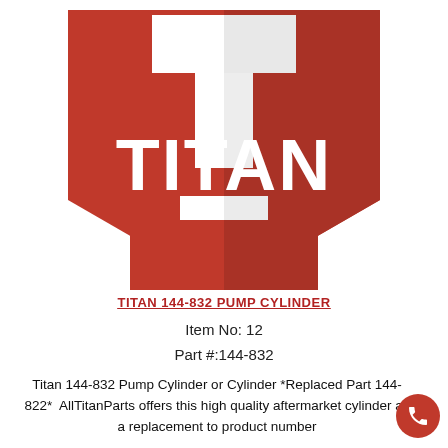[Figure (logo): Titan brand logo — large red shield/badge shape with white 'TITAN' text and a stylized T icon at top, with a downward-pointing arrow/chevron below on a white background]
TITAN 144-832 PUMP CYLINDER
Item No: 12
Part #:144-832
Titan 144-832 Pump Cylinder or Cylinder *Replaced Part 144-822*  AllTitanParts offers this high quality aftermarket cylinder as a replacement to product number